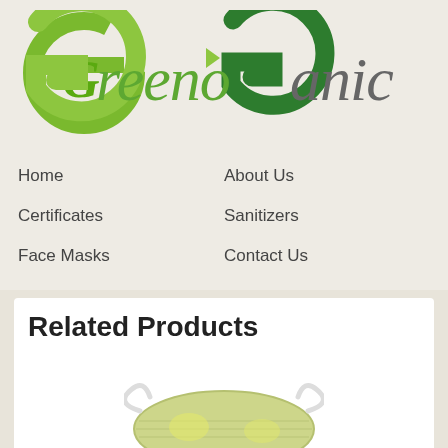[Figure (logo): GrenoGanic company logo with stylized green G letters and italic script text]
Home
About Us
Certificates
Sanitizers
Face Masks
Contact Us
Related Products
[Figure (photo): A green/yellow patterned face mask with ear loops]